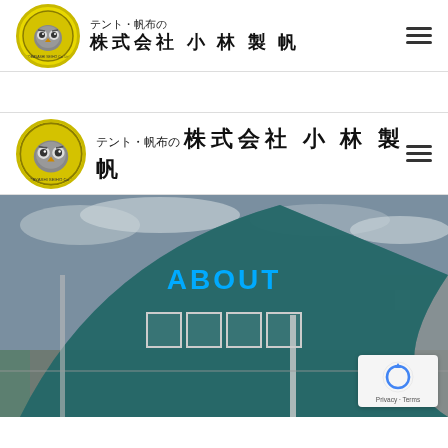[Figure (logo): Kobayashi Seiho company logo: circular yellow badge with owl mascot, beside Japanese text header (small: テント・帆布の, large: 株式会社 小 林 製 帆) and hamburger menu icon]
[Figure (logo): Repeated Kobayashi Seiho company logo header (larger version): circular yellow badge with owl mascot, beside Japanese text (テント・帆布の / 株式会社 小 林 製 帆) and hamburger menu icon]
[Figure (photo): Photo of a teal/dark blue shade sail canopy stretched over an outdoor area, sky with clouds visible, buildings in background. Overlay text: ABOUT (in cyan) and four Japanese character boxes below.]